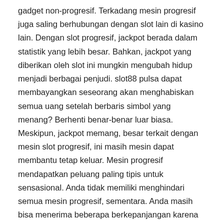gadget non-progresif. Terkadang mesin progresif juga saling berhubungan dengan slot lain di kasino lain. Dengan slot progresif, jackpot berada dalam statistik yang lebih besar. Bahkan, jackpot yang diberikan oleh slot ini mungkin mengubah hidup menjadi berbagai penjudi. slot88 pulsa dapat membayangkan seseorang akan menghabiskan semua uang setelah berbaris simbol yang menang? Berhenti benar-benar luar biasa. Meskipun, jackpot memang, besar terkait dengan mesin slot progresif, ini masih mesin dapat membantu tetap keluar. Mesin progresif mendapatkan peluang paling tipis untuk sensasional. Anda tidak memiliki menghindari semua mesin progresif, sementara. Anda masih bisa menerima beberapa berkepanjangan karena Anda tahu apa yang Anda bisa. Dalam segala jenis perjudian, mintalah harapan Anda realistis. Anda masih dapat memberikan mesin slot shot perform dan menang pada orang-orang progresif. Mobil slot balap sebagai hobi bisa menjadi kegiatan yang sangat berharga. Anda akan dijamin untuk bertemu banyak teman berita jika Anda mendaftar di klub